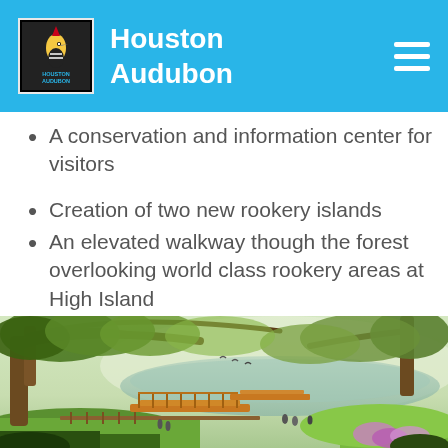Houston Audubon
A conservation and information center for visitors
Creation of two new rookery islands
An elevated walkway though the forest overlooking world class rookery areas at High Island
[Figure (photo): Artistic rendering of an elevated walkway and boardwalk through a lush green forest with a pond or lake in the background, large overhanging trees, birds in flight, and people walking along the path. Purple flowers visible in the lower right.]